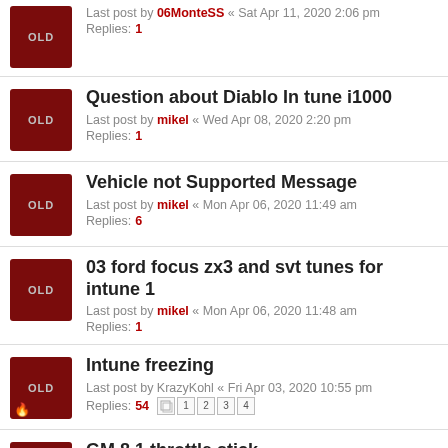Last post by 06MonteSS « Sat Apr 11, 2020 2:06 pm
Replies: 1
Question about Diablo In tune i1000
Last post by mikel « Wed Apr 08, 2020 2:20 pm
Replies: 1
Vehicle not Supported Message
Last post by mikel « Mon Apr 06, 2020 11:49 am
Replies: 6
03 ford focus zx3 and svt tunes for intune 1
Last post by mikel « Mon Apr 06, 2020 11:48 am
Replies: 1
Intune freezing
Last post by KrazyKohl « Fri Apr 03, 2020 10:55 pm
Replies: 54
GM 8.1 throttle stick
Last post by f4iryder « Fri Apr 03, 2020 3:41 pm
Replies: 7
Chev Trax 2013
Last post by 06MonteSS « Sat Mar 21, 2020 9:24 pm
Replies: 1